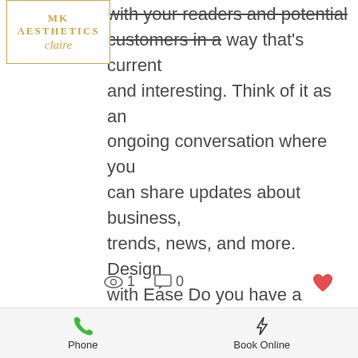[Figure (logo): MK Aesthetics logo with gold border box, text 'MK AESTHETICS' and script 'claire' below]
with your readers and potential customers in a way that's current and interesting. Think of it as an ongoing conversation where you can share updates about business, trends, news, and more. Design with Ease Do you have a design in mind for your blog? Whether you prefer a trendy postcard look
👁 1  💬 0  ♥
[Figure (photo): Close-up photo of large dark green tropical leaves]
Phone   Book Online